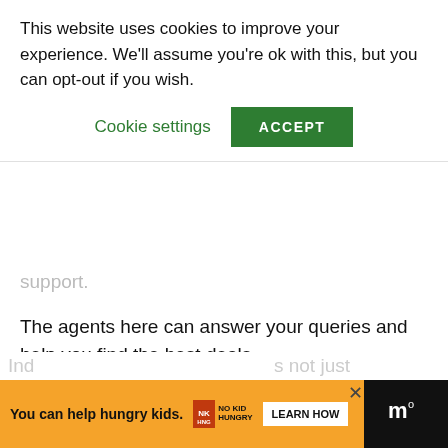[Figure (screenshot): Cookie consent banner overlay with text 'This website uses cookies to improve your experience. We'll assume you're ok with this, but you can opt-out if you wish.' and two buttons: 'Cookie settings' (green text) and 'ACCEPT' (green button)]
support.
The agents here can answer your queries and help you find the best deals.
[Figure (infographic): Orange rounded button with arrow circle icon and text 'TRY IBUTA 677 TODAY!']
Verdict
[Figure (infographic): Orange advertisement banner at the bottom: 'You can help hungry kids.' with No Kid Hungry logo, 'LEARN HOW' button, and a close X button. Right side has a dark background with a logo.]